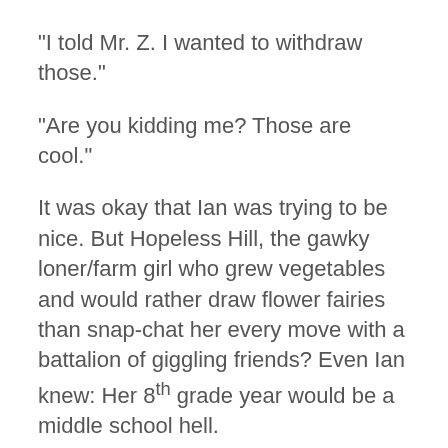“I told Mr. Z. I wanted to withdraw those.”
“Are you kidding me? Those are cool.”
It was okay that Ian was trying to be nice. But Hopeless Hill, the gawky loner/farm girl who grew vegetables and would rather draw flower fairies than snap-chat her every move with a battalion of giggling friends? Even Ian knew: Her 8th grade year would be a middle school hell.
* * *
Click next to see what happens in the story...